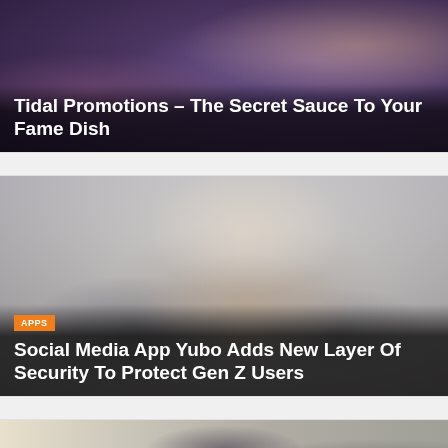[Figure (photo): Blurry crowd photo with purple/dark tones, people holding devices]
Tidal Promotions – The Secret Sauce To Your Fame Dish
[Figure (photo): Young person in white shirt holding a smartphone, sunglasses hanging on shirt collar]
APPS
Social Media App Yubo Adds New Layer Of Security To Protect Gen Z Users
[Figure (photo): People wearing face shields, health/medical setting]